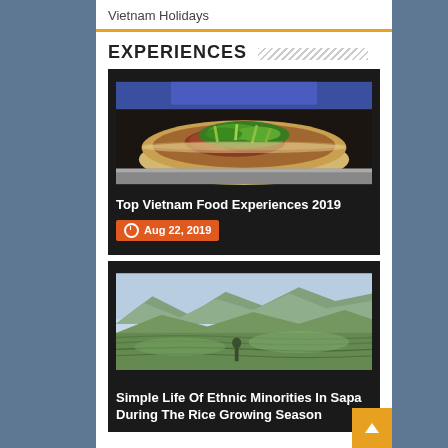Vietnam Holidays
EXPERIENCES
[Figure (photo): A bowl of Vietnamese pho soup with beef slices, green herbs (scallions and cilantro) in a rich brown broth, served in a white bowl on a granite surface.]
Top Vietnam Food Experiences 2019
Aug 22, 2019
[Figure (photo): Aerial view of Sapa Vietnam terraced rice fields with green rolling hills, terraced paddy fields carved into hillsides, and mountains in the background under a hazy sky.]
Simple Life Of Ethnic Minorities In Sapa During The Rice Growing Season